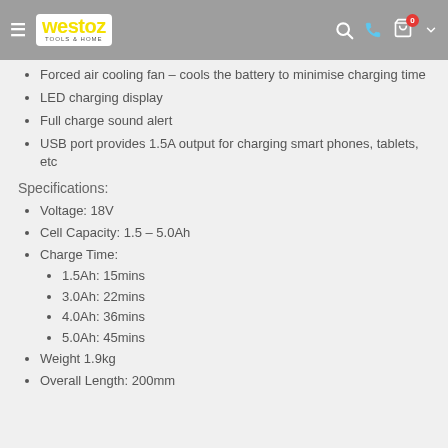WestOz Tools & Home
Forced air cooling fan – cools the battery to minimise charging time
LED charging display
Full charge sound alert
USB port provides 1.5A output for charging smart phones, tablets, etc
Specifications:
Voltage: 18V
Cell Capacity: 1.5 – 5.0Ah
Charge Time:
1.5Ah: 15mins
3.0Ah: 22mins
4.0Ah: 36mins
5.0Ah: 45mins
Weight 1.9kg
Overall Length: 200mm